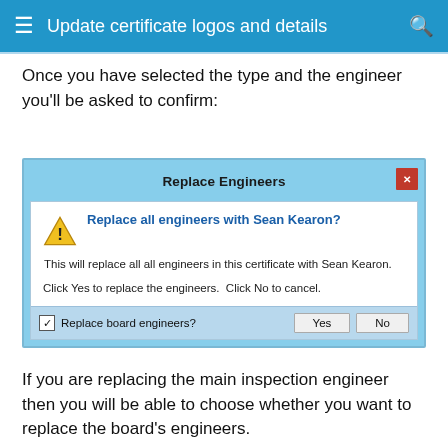Update certificate logos and details
Once you have selected the type and the engineer you'll be asked to confirm:
[Figure (screenshot): A Windows dialog box titled 'Replace Engineers' with a warning icon and the question 'Replace all engineers with Sean Kearon?' The dialog describes that this will replace all engineers in the certificate with Sean Kearon and instructs the user to click Yes to replace or No to cancel. A checkbox labeled 'Replace board engineers?' is checked, with Yes and No buttons.]
If you are replacing the main inspection engineer then you will be able to choose whether you want to replace the board's engineers.